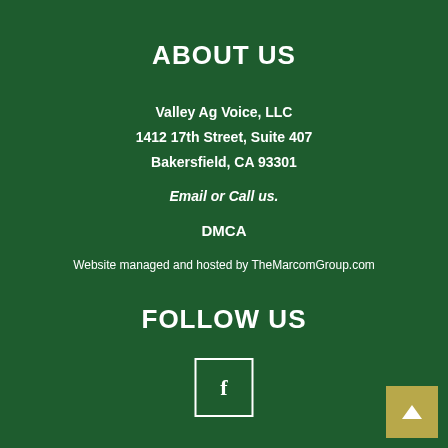ABOUT US
Valley Ag Voice, LLC
1412 17th Street, Suite 407
Bakersfield, CA 93301
Email or Call us.
DMCA
Website managed and hosted by TheMarcomGroup.com
FOLLOW US
[Figure (logo): Facebook icon in white square outline box]
[Figure (other): Scroll to top button with upward arrow, olive/yellow background]